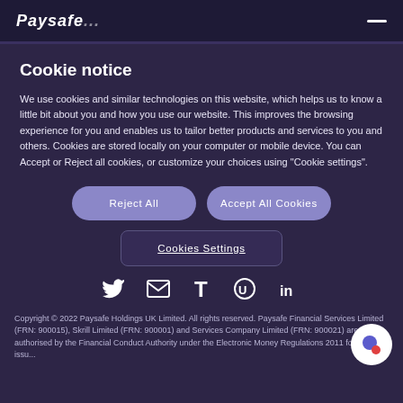Paysafe
Cookie notice
We use cookies and similar technologies on this website, which helps us to know a little bit about you and how you use our website. This improves the browsing experience for you and enables us to tailor better products and services to you and others. Cookies are stored locally on your computer or mobile device. You can Accept or Reject all cookies, or customize your choices using "Cookie settings".
Reject All
Accept All Cookies
Cookies Settings
[Figure (infographic): Row of 5 social media icons: Twitter bird, envelope/email, letter T (TikTok), circular U (YouTube), LinkedIn 'in']
Copyright © 2022 Paysafe Holdings UK Limited. All rights reserved. Paysafe Financial Services Limited (FRN: 900015), Skrill Limited (FRN: 900001) and Services Company Limited (FRN: 900021) are all authorised by the Financial Conduct Authority under the Electronic Money Regulations 2011 for the issu...